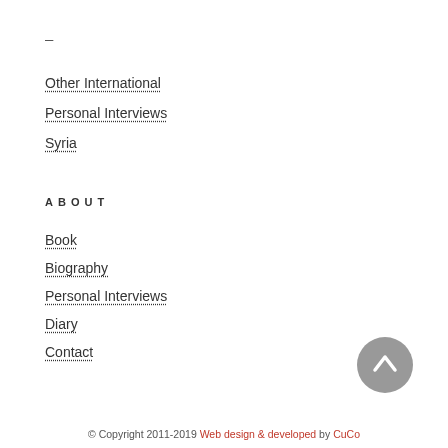–
Other International
Personal Interviews
Syria
ABOUT
Book
Biography
Personal Interviews
Diary
Contact
© Copyright 2011-2019 Web design & developed by CuCo